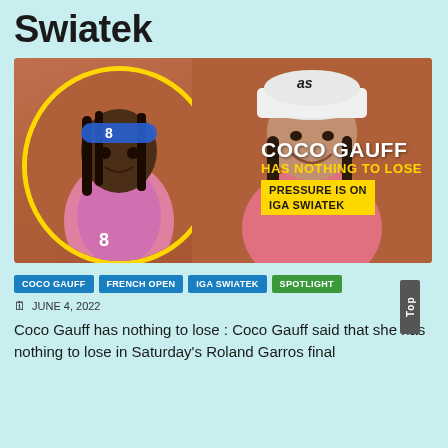Swiatek
[Figure (photo): Side-by-side photo of Coco Gauff (left, in yellow circle frame) and Iga Swiatek (right) on a clay court background. Text overlay reads: COCO GAUFF HAS NOTHING TO LOSE / PRESSURE IS ON IGA SWIATEK]
COCO GAUFF
FRENCH OPEN
IGA SWIATEK
SPOTLIGHT
JUNE 4, 2022
Coco Gauff has nothing to lose : Coco Gauff said that she has nothing to lose in Saturday's Roland Garros final